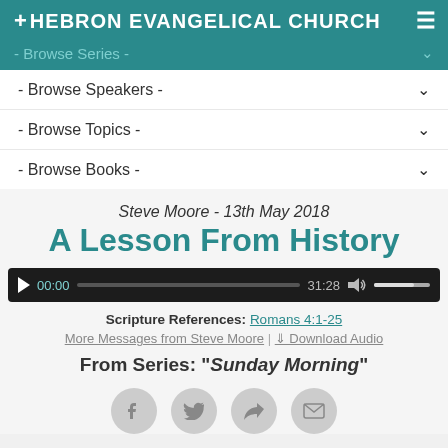HEBRON EVANGELICAL CHURCH
- Browse Series -
- Browse Speakers -
- Browse Topics -
- Browse Books -
Steve Moore - 13th May 2018
A Lesson From History
[Figure (other): Audio player showing 00:00 / 31:28 with progress bar and volume control]
Scripture References: Romans 4:1-25
More Messages from Steve Moore | Download Audio
From Series: "Sunday Morning"
[Figure (other): Social share icons: Facebook, Twitter, Share/Retweet, Email]